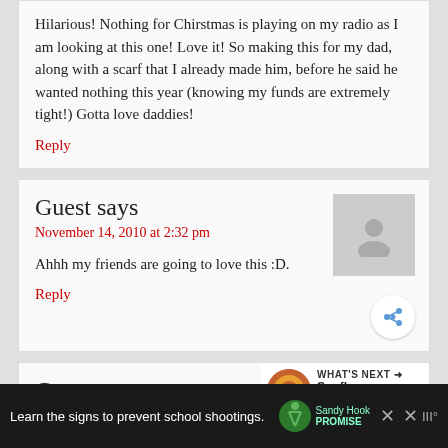Hilarious! Nothing for Chirstmas is playing on my radio as I am looking at this one! Love it! So making this for my dad, along with a scarf that I already made him, before he said he wanted nothing this year (knowing my funds are extremely tight!) Gotta love daddies!
Reply
Guest says
November 14, 2010 at 2:32 pm
Ahhh my friends are going to love this :D.
Reply
Guest says
November 5, 2010 at 1:12 am
WHAT'S NEXT → Sunflower Pumpkin Do...
Learn the signs to prevent school shootings.